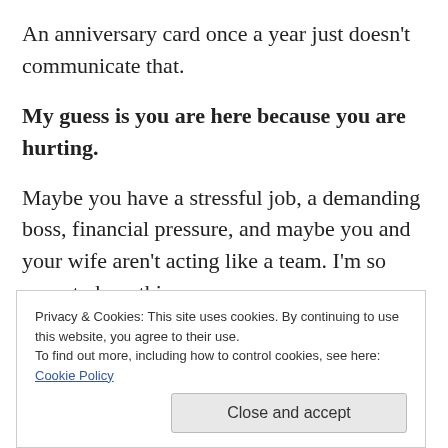An anniversary card once a year just doesn't communicate that.
My guess is you are here because you are hurting.
Maybe you have a stressful job, a demanding boss, financial pressure, and maybe you and your wife aren't acting like a team. I'm so sorry to hear this.
Privacy & Cookies: This site uses cookies. By continuing to use this website, you agree to their use.
To find out more, including how to control cookies, see here: Cookie Policy
peace with you.